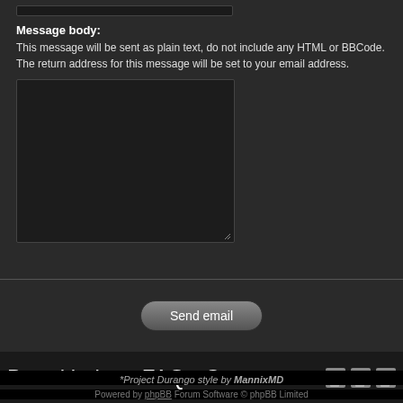[Figure (screenshot): Input bar at the top of a dark-themed web form]
Message body:
This message will be sent as plain text, do not include any HTML or BBCode. The return address for this message will be set to your email address.
[Figure (screenshot): Dark textarea input box for message body]
[Figure (screenshot): Send email button]
Board index • FAQ • Contact us
*Project Durango style by MannixMD